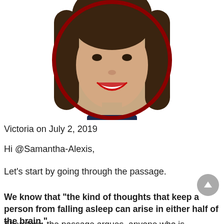[Figure (photo): Circular profile photo of a young woman with long dark hair and red lipstick, smiling, with a dark red circular border]
Victoria on July 2, 2019
Hi @Samantha-Alexis,
Let's start by going through the passage.
We know that "the kind of thoughts that keep a person from falling asleep can arise in either half of the brain."
Therefore, the passage argues, anyone who is prevented from sleeping by those kind of thoughts (which can